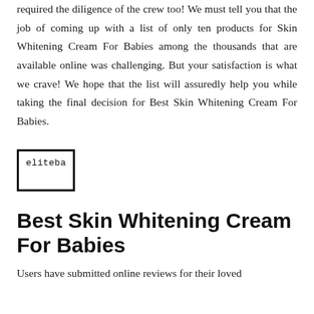required the diligence of the crew too! We must tell you that the job of coming up with a list of only ten products for Skin Whitening Cream For Babies among the thousands that are available online was challenging. But your satisfaction is what we crave! We hope that the list will assuredly help you while taking the final decision for Best Skin Whitening Cream For Babies.
[Figure (logo): A rectangular box with border containing the text 'eliteba' in monospace font, representing a logo placeholder.]
Best Skin Whitening Cream For Babies
Users have submitted online reviews for their loved